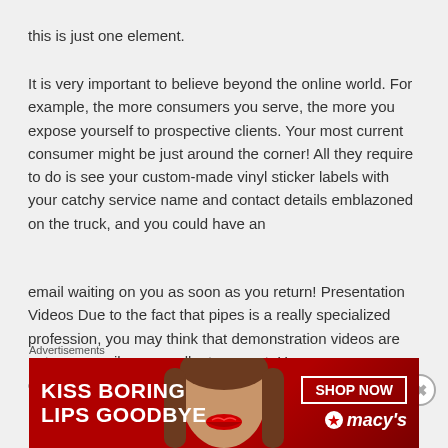this is just one element.
It is very important to believe beyond the online world. For example, the more consumers you serve, the more you expose yourself to prospective clients. Your most current consumer might be just around the corner! All they require to do is see your custom-made vinyl sticker labels with your catchy service name and contact details emblazoned on the truck, and you could have an
email waiting on you as soon as you return! Presentation Videos Due to the fact that pipes is a really specialized profession, you may think that demonstration videos are not necessarily an excellent concept. However, demonstration videos are an extremely widespread method on social
Advertisements
[Figure (other): Macy's advertisement banner: 'KISS BORING LIPS GOODBYE' with SHOP NOW button and Macy's star logo, featuring a woman's face with red lipstick.]